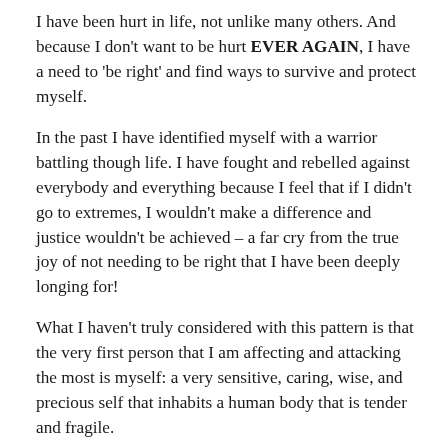I have been hurt in life, not unlike many others. And because I don't want to be hurt EVER AGAIN, I have a need to 'be right' and find ways to survive and protect myself.
In the past I have identified myself with a warrior battling though life. I have fought and rebelled against everybody and everything because I feel that if I didn't go to extremes, I wouldn't make a difference and justice wouldn't be achieved – a far cry from the true joy of not needing to be right that I have been deeply longing for!
What I haven't truly considered with this pattern is that the very first person that I am affecting and attacking the most is myself: a very sensitive, caring, wise, and precious self that inhabits a human body that is tender and fragile.